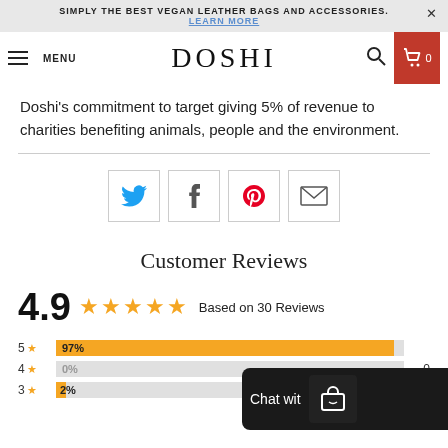SIMPLY THE BEST VEGAN LEATHER BAGS AND ACCESSORIES. LEARN MORE
DOSHI — MENU — Search — Cart 0
Doshi's commitment to target giving 5% of revenue to charities benefiting animals, people and the environment.
[Figure (infographic): Social sharing buttons: Twitter, Facebook, Pinterest, Email]
Customer Reviews
4.9 ★★★★★ Based on 30 Reviews
5★ 97% | 4★ 0% 0 | 3★ 2% 1